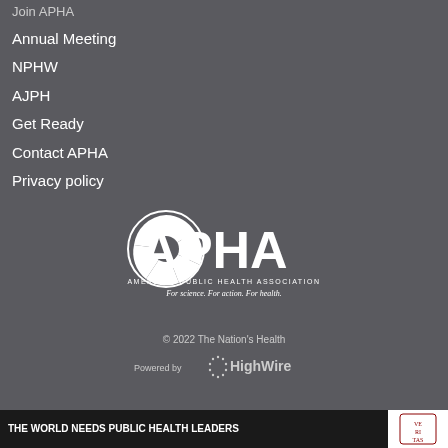Join APHA
Annual Meeting
NPHW
AJPH
Get Ready
Contact APHA
Privacy policy
[Figure (logo): APHA logo with camera shutter icon, text APHA, AMERICAN PUBLIC HEALTH ASSOCIATION, tagline For science. For action. For health.]
© 2022 The Nation's Health
Powered by HighWire
THE WORLD NEEDS PUBLIC HEALTH LEADERS